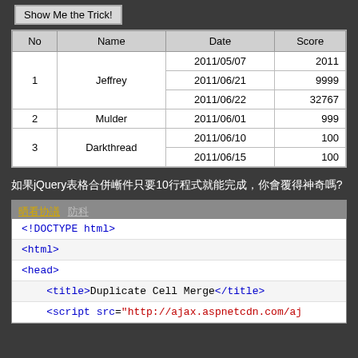[Figure (screenshot): Show Me the Trick! button rendered in a browser UI]
| No | Name | Date | Score |
| --- | --- | --- | --- |
| 1 | Jeffrey | 2011/05/07 | 2011 |
| 1 | Jeffrey | 2011/06/21 | 9999 |
| 1 | Jeffrey | 2011/06/22 | 32767 |
| 2 | Mulder | 2011/06/01 | 999 |
| 3 | Darkthread | 2011/06/10 | 100 |
| 3 | Darkthread | 2011/06/15 | 100 |
如果jQuery表格合併套件只要10行程式就能完成，你會覺得神奇嗎?
[Figure (screenshot): Code editor screenshot showing HTML code: <!DOCTYPE html>, <html>, <head>, <title>Duplicate Cell Merge</title>, <script src="http://ajax.aspnetcdn.com/aj...]